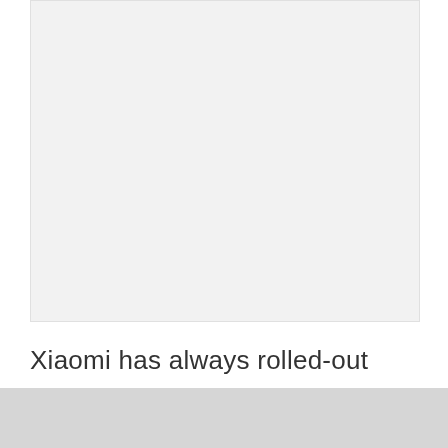[Figure (photo): A placeholder image area with light gray background]
Xiaomi has always rolled-out updates on the promised dates. But in the process, this massive Chinese tech brand never ditches the older devices either. For